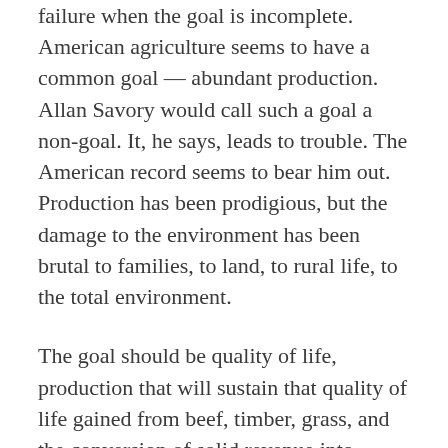failure when the goal is incomplete. American agriculture seems to have a common goal — abundant production. Allan Savory would call such a goal a non-goal. It, he says, leads to trouble. The American record seems to bear him out. Production has been prodigious, but the damage to the environment has been brutal to families, to land, to rural life, to the total environment.
The goal should be quality of life, production that will sustain that quality of life gained from beef, timber, grass, and the conversion of solid revenue into opaque production. The educational aspects of that life are a requirement.
The last element of the HRM goal sequence is a